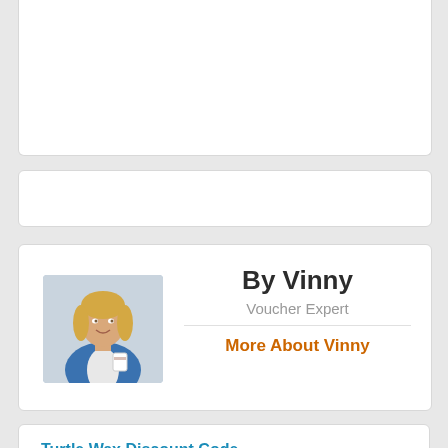[Figure (photo): Partial white card at top of page, cropped]
[Figure (photo): White card in middle, content not visible]
[Figure (photo): Author card with photo of blonde woman in blue jacket holding a cup. Name: By Vinny, Role: Voucher Expert, Link: More About Vinny]
By Vinny
Voucher Expert
More About Vinny
Turtle Wax Discount Code
In dealslands, we offer special Turtle Wax discount codes to reduce the actual cost of the products. These turtle wax promo codes are applicable for all the products listed in Turtle Wax. Every car lover would like to have a Turtle wax